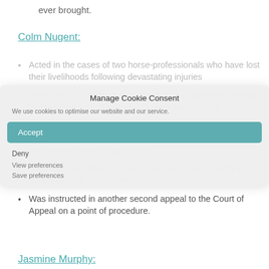ever brought.
Colm Nugent:
Acted in the cases of two horse-professionals who have lost their livelihoods following devastating injuries
Instructed on a strike out application of a significant clinical negligence claim, following a Denton-style default
Acted on behalf of a young adult with educational-needs whose father was killed in an accident and who required extensive input from specialists
Settled a multi-million catastrophic burns injury claim against an educational professional
Was instructed in another second appeal to the Court of Appeal on a point of procedure.
Jasmine Murphy: